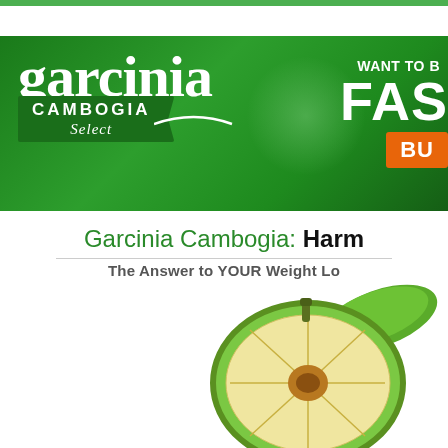[Figure (infographic): Garcinia Cambogia Select product banner advertisement on dark green background. Left side shows the 'garcinia CAMBOGIA Select' logo in white script/bold text with a ribbon design. Right side (partially cropped) shows text 'WANT TO B...' 'FAS...' and an orange button with 'BU...']
Garcinia Cambogia: Harm... The Answer to YOUR Weight Lo...
[Figure (photo): A cross-section of a Garcinia Cambogia fruit (also called Malabar tamarind), showing the green rind exterior with leaves, and the pale yellow/cream interior with seed segments, cut in half and displayed at an angle.]